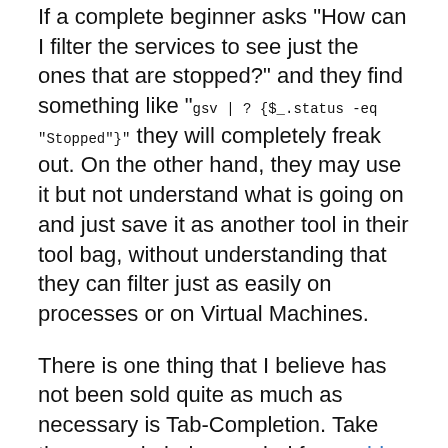If a complete beginner asks "How can I filter the services to see just the ones that are stopped?" and they find something like "gsv | ? {$_.status -eq "Stopped"}" they will completely freak out. On the other hand, they may use it but not understand what is going on and just save it as another tool in their tool bag, without understanding that they can filter just as easily on processes or on Virtual Machines.
There is one thing that I believe has not been sold quite as much as necessary is Tab-Completion. Take the example below copied from a blog entry from the MS Exchange Team
This is the Exchange Management Shell (EMS) command Tom would enter to generate the cert request to be provided to the 3rd party CA in order to generate the actual certificate: